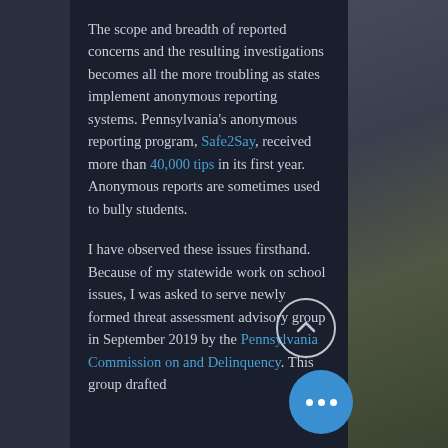The scope and breadth of reported concerns and the resulting investigations becomes all the more troubling as states implement anonymous reporting systems. Pennsylvania's anonymous reporting program, Safe2Say, received more than 40,000 tips in its first year. Anonymous reports are sometimes used to bully students.
I have observed these issues firsthand. Because of my statewide work on school issues, I was asked to serve newly formed threat assessment advisory group in September 2019 by the Pennsylvania Commission on and Delinquency. This group drafted